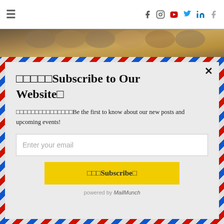≡  [social icons: f, instagram, youtube, twitter, linkedin, f]
[Figure (photo): Horizontal strip of a photo showing barrels or shelving in warm tones]
[Figure (screenshot): Email subscription modal with airmail border design. Contains title, description, email input, and subscribe button.]
□□□□□Subscribe to Our Website□
□□□□□□□□□□□□□□□Be the first to know about our new posts and upcoming events!
Enter your email
□□□Subscribe□
powered by MailMunch